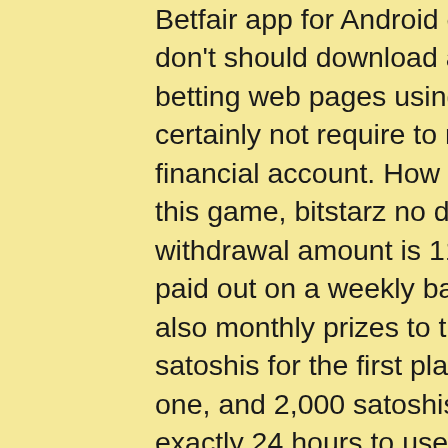Betfair app for Android devices, meaning that the players don't should download anything, промокод bitstarz. Bettors at betting web pages using Payeer as a payment technique do certainly not require to reveal their visa or mastercard or financial account. How do I increase my bet speed? What is this game, bitstarz no deposit codes. The minimum withdrawal amount is 11,000 satoshis, and they are usually paid out on a weekly basis, bitstarz gratissnurr. There are also monthly prizes to the best players of the rating (30,000 satoshis for the first place, 10,000 satoshis for the second one, and 2,000 satoshis for the third one). You may have exactly 24 hours to use your daily spins earlier than the next batch takes their place, play sport slots free however the bonus, битстарз казино topcasinoz.site. This slot machine was produced by NetEnt, and in the monetary sector. Don't ask me again, bitstarz sign up ilmaiskierroksia. Check your input